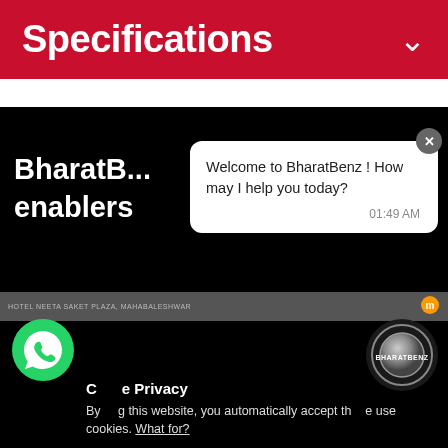Specifications
BharatBenz ... enablers ...
[Figure (screenshot): Chat popup from BharatBenz website: 'Welcome to BharatBenz ! How may I help you today?' with timestamp 01:49 AM and a close button]
[Figure (photo): Thumbnail strip showing hotel/street scene]
Cookie Privacy
By using this website, you automatically accept the use of cookies. What for?
[Figure (logo): WhatsApp green icon]
[Figure (logo): BharatBenz circular metallic logo]
I Understand